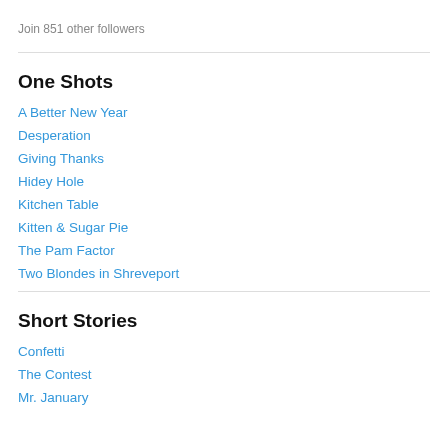Join 851 other followers
One Shots
A Better New Year
Desperation
Giving Thanks
Hidey Hole
Kitchen Table
Kitten & Sugar Pie
The Pam Factor
Two Blondes in Shreveport
Short Stories
Confetti
The Contest
Mr. January